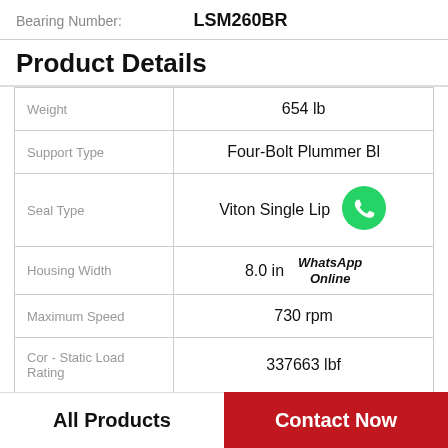Bearing Number: LSM260BR
Product Details
| Property | Value |
| --- | --- |
| Weight | 654 lb |
| Support Type | Four-Bolt Plummer Bl |
| Seal Type | Viton Single Lip |
| Housing Width | 8.0 in |
| Maximum Speed | 730 rpm |
| Cor - Static Load Rating | 337663 lbf |
All Products | Contact Now